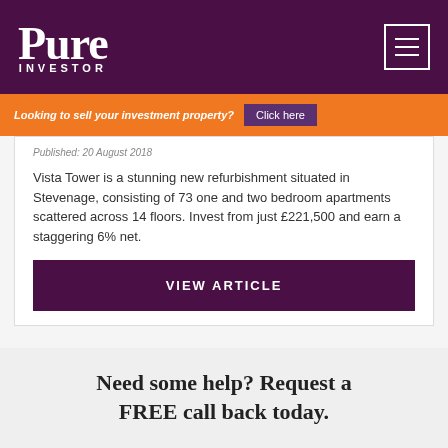[Figure (logo): Pure Investor logo — white serif text on dark purple header background with hamburger menu icon]
Looking to sell your investment property? Click here
Published: 20 August 2018
Vista Tower is a stunning new refurbishment situated in Stevenage, consisting of 73 one and two bedroom apartments scattered across 14 floors. Invest from just £221,500 and earn a staggering 6% net.
VIEW ARTICLE
Need some help? Request a FREE call back today.